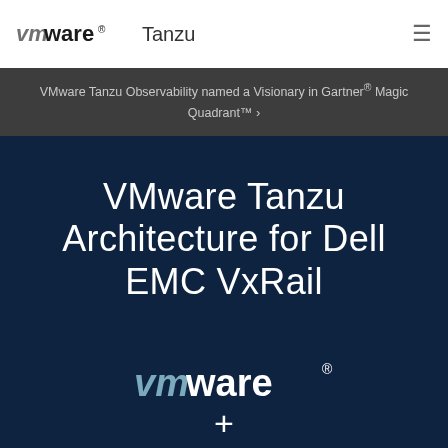VMware Tanzu
VMware Tanzu Observability named a Visionary in Gartner® Magic Quadrant™ ›
VMware Tanzu Architecture for Dell EMC VxRail
[Figure (logo): VMware logo (vm stylized prefix + ware text + registered mark) followed by a plus sign, on dark navy background]